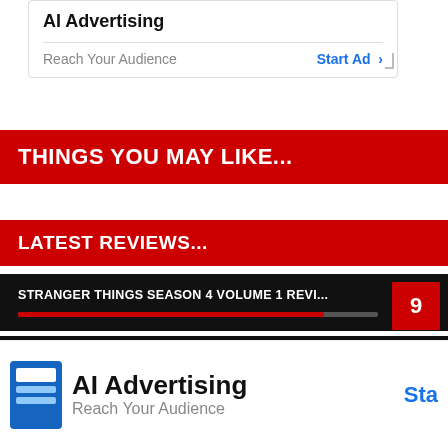AI Advertising
Reach Your Audience
Start Ad >
THINGS YOU MAY LIKE...
LATEST REVIEWS...
STRANGER THINGS SEASON 4 VOLUME 1 REVI...
9
MOON KNIGHT EPISODE 6 FINALE REVIEW: GO...
9
AI Advertising
Reach Your Audience
Sta